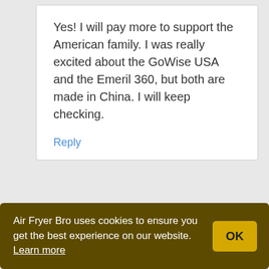Yes! I will pay more to support the American family. I was really excited about the GoWise USA and the Emeril 360, but both are made in China. I will keep checking.
Reply
[Figure (logo): AirfryerBro circular logo with illustrated figure and text]
AirfryerBro
October 7, 2020 at 6:30 pm
Air Fryer Bro uses cookies to ensure you get the best experience on our website. Learn more